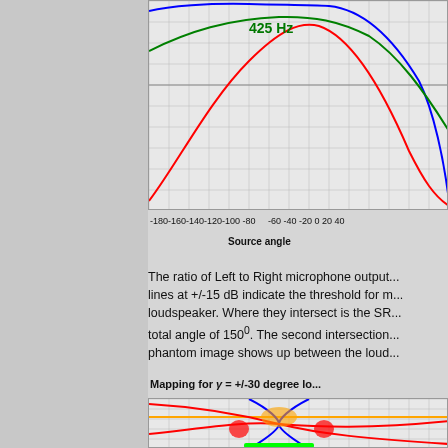[Figure (continuous-plot): Frequency response chart showing multiple colored curves (blue, red, green) plotted against source angle. The label '425 Hz' appears inside the chart in green text. The x-axis shows source angle values from -180 to 40, and horizontal reference lines are visible.]
-180-160-140-120-100 -80 -60 -40 -20 0 20 40
Source angle
The ratio of Left to Right microphone output... lines at +/-15 dB indicate the threshold for m... loudspeaker. Where they intersect is the SR... total angle of 150°. The second intersection... phantom image shows up between the loud...
Mapping for γ = +/-30 degree lo...
[Figure (continuous-plot): Mapping chart showing blue and red curved lines with highlighted intersection points in orange/red/green colors on a grid background. A green horizontal bar is visible near the bottom.]